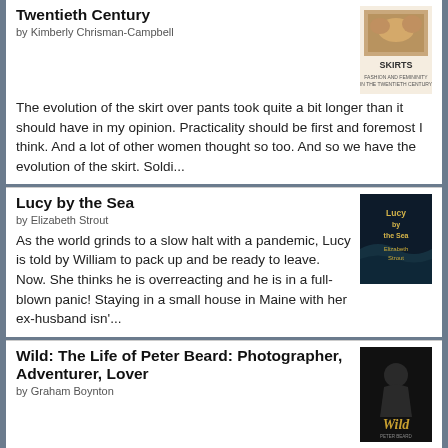Twentieth Century
by Kimberly Chrisman-Campbell
The evolution of the skirt over pants took quite a bit longer than it should have in my opinion. Practicality should be first and foremost I think. And a lot of other women thought so too. And so we have the evolution of the skirt. Soldi...
[Figure (photo): Book cover for Skirts: fashion and femininity in the twentieth century]
Lucy by the Sea
by Elizabeth Strout
As the world grinds to a slow halt with a pandemic, Lucy is told by William to pack up and be ready to leave. Now. She thinks he is overreacting and he is in a full-blown panic! Staying in a small house in Maine with her ex-husband isn'...
[Figure (photo): Book cover for Lucy by the Sea by Elizabeth Strout]
Wild: The Life of Peter Beard: Photographer, Adventurer, Lover
by Graham Boynton
What an interesting life this man had. Descended from old money. His great-grandfather, James Hill founded the Great
[Figure (photo): Book cover for Wild: The Life of Peter Beard]